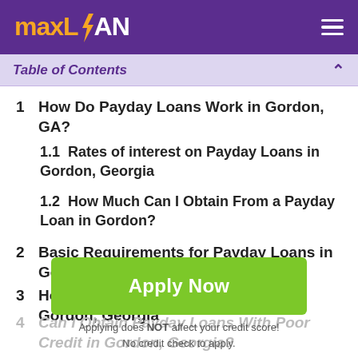maxLOAN
Table of Contents
1  How Do Payday Loans Work in Gordon, GA?
1.1  Rates of interest on Payday Loans in Gordon, Georgia
1.2  How Much Can I Obtain From a Payday Loan in Gordon?
2  Basic Requirements for Payday Loans in Gordon, GA
3  How to Get Payday Loans in Gordon, Georgia
4  Can I Obtain Payday Loans With Poor Credit in Gordon, Georgia?
[Figure (other): Green Apply Now button with text 'Apply Now']
Applying does NOT affect your credit score! No credit check to apply.